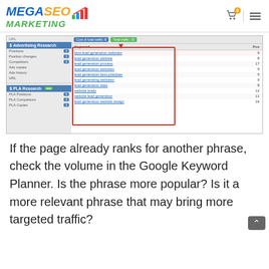Mega SEO Marketing – cart: 0
[Figure (screenshot): SEMrush Advertising Research screenshot showing keyword data for 'lead generation websites' with columns for Keyword and Position, including entries: best lead generation websites (9), lead generation website (8), lead generation process (17), lead generation websites (9), lead generation best practices (5), lead generating websites (9), lead generation sites (8), website leads (12), website lead generation (11), lead generation website design (16)]
If the page already ranks for another phrase, check the volume in the Google Keyword Planner. Is the phrase more popular? Is it a more relevant phrase that may bring more targeted traffic?